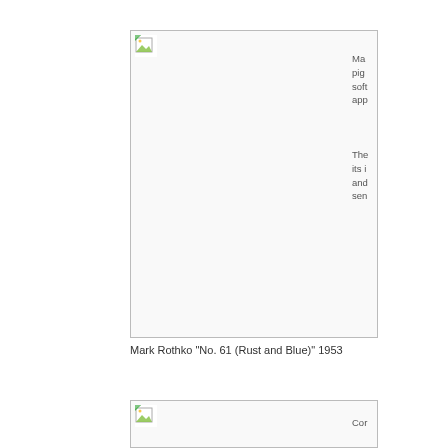[Figure (photo): Placeholder image box representing Mark Rothko 'No. 61 (Rust and Blue)' 1953 painting]
Ma... pig... soft... app...
The... its i... and... sen...
Mark Rothko "No. 61 (Rust and Blue)" 1953
[Figure (photo): Placeholder image box representing a second artwork]
Cor...